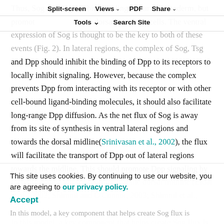Split-screen  Views ▾  PDF  Share ▾
Tools ▾  Search Site
Thus, Sog and Tsg inhibit signaling in our subectoderm, but promote it in dorsal ectoderm cells. The ventral expression of Sog is thought to be the key to both of these events (Fig. 2). In lateral regions, the complex of Sog, Tsg and Dpp should inhibit the binding of Dpp to its receptors to locally inhibit signaling. However, because the complex prevents Dpp from interacting with its receptor or with other cell-bound ligand-binding molecules, it should also facilitate long-range Dpp diffusion. As the net flux of Sog is away from its site of synthesis in ventral lateral regions and towards the dorsal midline(Srinivasan et al., 2002), the flux will facilitate the transport of Dpp out of lateral regions towards the midline. This should promote Dpp signaling by increasing the Dpp concentration at the dorsal midline (Eldar et al., 2002; Shimmi and O'Connor, 2003; Shimmi et al., 2005).
In this model, a key component that helps create Sog flux is
This site uses cookies. By continuing to use our website, you are agreeing to our privacy policy.
Accept